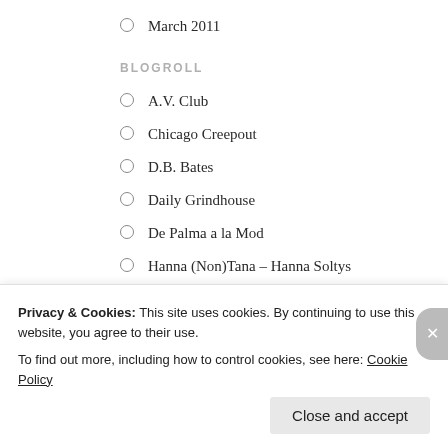March 2011
BLOGROLL
A.V. Club
Chicago Creepout
D.B. Bates
Daily Grindhouse
De Palma a la Mod
Hanna (Non)Tana – Hanna Soltys
Hey! Look Behind You!
Horror 101 with Dr. AC
I don't know, but neither do you.
Privacy & Cookies: This site uses cookies. By continuing to use this website, you agree to their use.
To find out more, including how to control cookies, see here: Cookie Policy
Close and accept